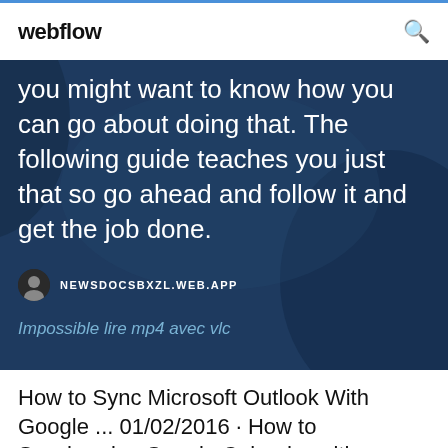webflow
you might want to know how you can go about doing that. The following guide teaches you just that so go ahead and follow it and get the job done.
NEWSDOCSBXZL.WEB.APP
Impossible lire mp4 avec vlc
How to Sync Microsoft Outlook With Google ... 01/02/2016 · How to Synchronize Google Calendar with